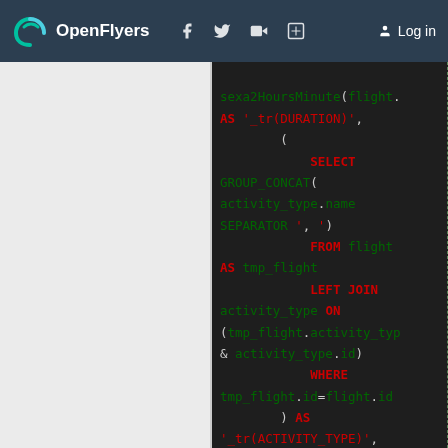OpenFlyers | Log in
[Figure (screenshot): SQL code snippet showing a query with GROUP_CONCAT, SELECT, FROM, LEFT JOIN, WHERE, AS clauses for flight activity types and landing numbers]
sexa2HoursMinute(flight. AS '_tr(DURATION)', ( SELECT GROUP_CONCAT( activity_type.name SEPARATOR ', ') FROM flight AS tmp_flight LEFT JOIN activity_type ON (tmp_flight.activity_typ & activity_type.id) WHERE tmp_flight.id=flight.id ) AS '_tr(ACTIVITY_TYPE)', flight.landing_number AS '_tr(FLIGHT_LANDING_NUMB business_field_comment.c AS '_tr(COMMENT)' FROM flight_pilot LEFT JOIN flight ON